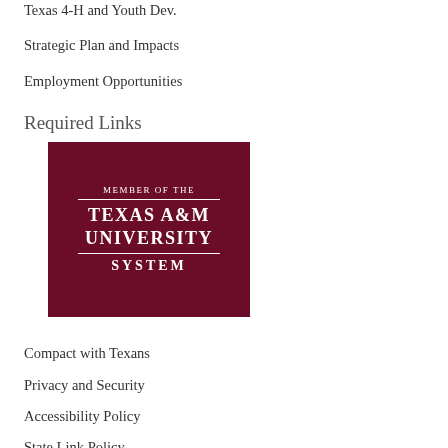Texas 4-H and Youth Dev.
Strategic Plan and Impacts
Employment Opportunities
Required Links
[Figure (logo): Member of the Texas A&M University System logo — dark maroon rectangle with white text]
Compact with Texans
Privacy and Security
Accessibility Policy
State Link Policy
Statewide Search
Equal Opportunity
Veterans Benefits